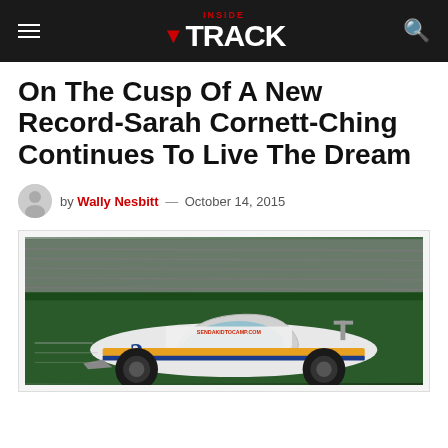INSIDE TRACK
On The Cusp Of A New Record-Sarah Cornett-Ching Continues To Live The Dream
by Wally Nesbitt — October 14, 2015
[Figure (photo): A NASCAR-style race car with 'SENDAKIDTOCAMP.COM' sponsorship and number 2, photographed at speed against a green wall background.]